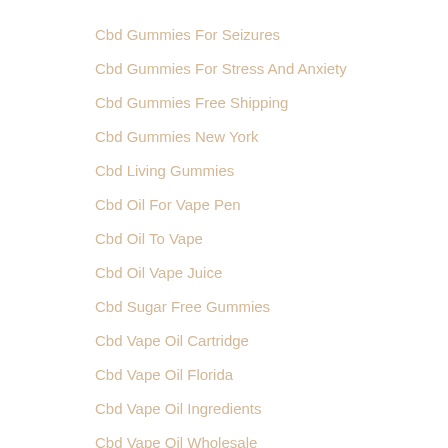Cbd Gummies For Seizures
Cbd Gummies For Stress And Anxiety
Cbd Gummies Free Shipping
Cbd Gummies New York
Cbd Living Gummies
Cbd Oil For Vape Pen
Cbd Oil To Vape
Cbd Oil Vape Juice
Cbd Sugar Free Gummies
Cbd Vape Oil Cartridge
Cbd Vape Oil Florida
Cbd Vape Oil Ingredients
Cbd Vape Oil Wholesale
Celebrities In Porn